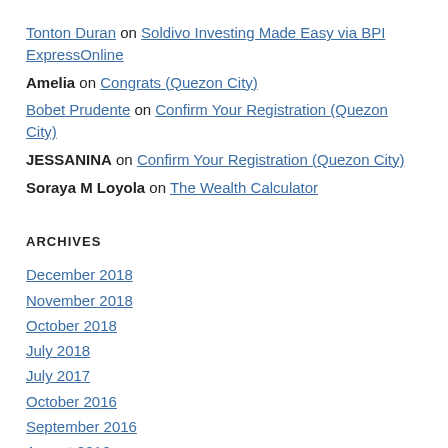Tonton Duran on Soldivo Investing Made Easy via BPI ExpressOnline
Amelia on Congrats (Quezon City)
Bobet Prudente on Confirm Your Registration (Quezon City)
JESSANINA on Confirm Your Registration (Quezon City)
Soraya M Loyola on The Wealth Calculator
ARCHIVES
December 2018
November 2018
October 2018
July 2018
July 2017
October 2016
September 2016
August 2016